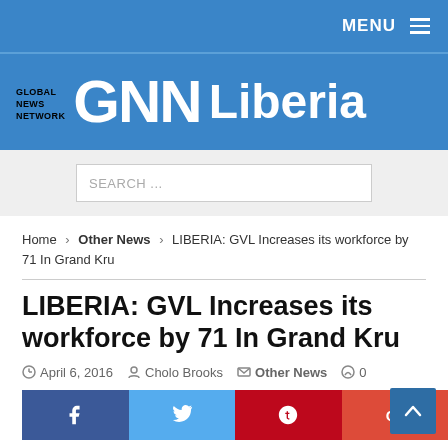MENU
[Figure (logo): Global News Network GNN Liberia logo on blue background]
SEARCH ...
Home > Other News > LIBERIA: GVL Increases its workforce by 71 In Grand Kru
LIBERIA: GVL Increases its workforce by 71 In Grand Kru
April 6, 2016   Cholo Brooks   Other News   0